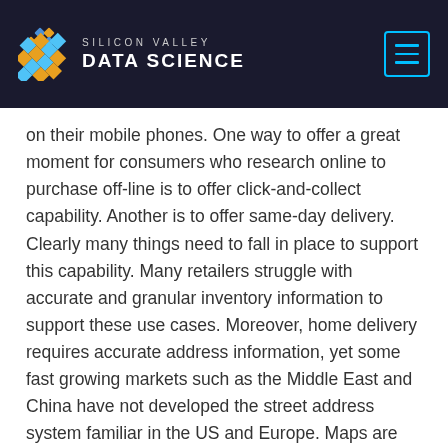SILICON VALLEY DATA SCIENCE
on their mobile phones. One way to offer a great moment for consumers who research online to purchase off-line is to offer click-and-collect capability. Another is to offer same-day delivery. Clearly many things need to fall in place to support this capability. Many retailers struggle with accurate and granular inventory information to support these use cases. Moreover, home delivery requires accurate address information, yet some fast growing markets such as the Middle East and China have not developed the street address system familiar in the US and Europe. Maps are quickly out of date given the rapid pace of urbanization. China has solved these logistics problems with geo-location data from consumer smart phones, which side-steps the street addressing issues. A surprising sight in many of the